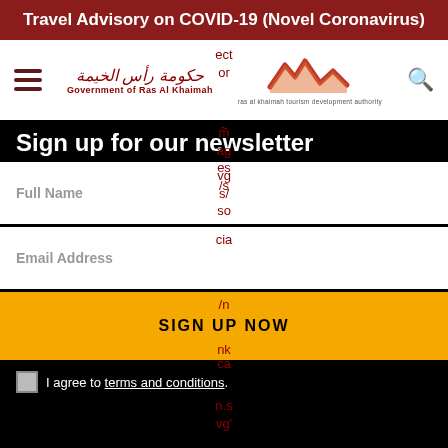Travel Advisory on COVID-19 (Novel Coronavirus)
[Figure (screenshot): Navigation bar with hamburger menu, Government of Ras Al Khaimah logo (Arabic and English), Ras Al Khaimah Tourism Development Authority logo, and search icon]
Sign up for our newsletter
Full Name
Email Address
SIGN UP NOW
I agree to terms and conditions.